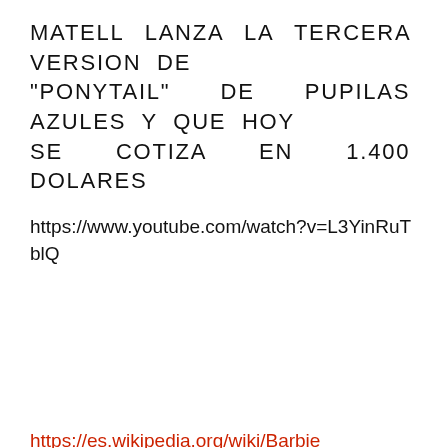MATELL LANZA LA TERCERA VERSION DE "PONYTAIL" DE PUPILAS AZULES Y QUE HOY SE COTIZA EN 1.400 DOLARES
https://www.youtube.com/watch?v=L3YinRuTblQ
https://es.wikipedia.org/wiki/Barbie
https://es.wikipedia.org/wiki/Mattel
AQUELLA SEMANA, EL ALBUM MAS VENDIDO ES: "NICE AND EASY" DE FRANK SINATRA